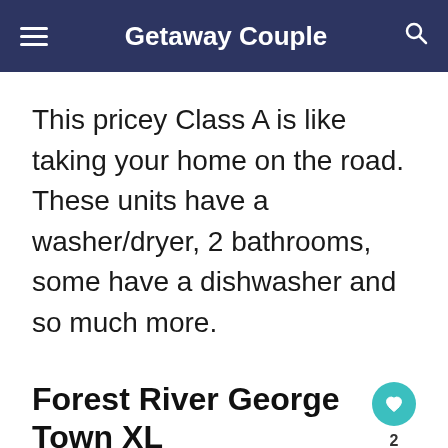Getaway Couple
This pricey Class A is like taking your home on the road. These units have a washer/dryer, 2 bathrooms, some have a dishwasher and so much more.
Forest River George Town XL
Luxury on the road is how this